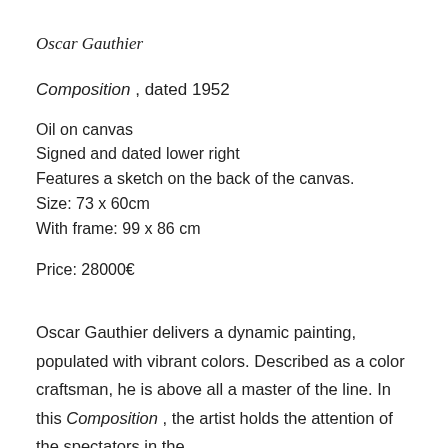Oscar Gauthier
Composition , dated 1952
Oil on canvas
Signed and dated lower right
Features a sketch on the back of the canvas.
Size: 73 x 60cm
With frame: 99 x 86 cm
Price: 28000€
Oscar Gauthier delivers a dynamic painting, populated with vibrant colors. Described as a color craftsman, he is above all a master of the line. In this Composition , the artist holds the attention of the spectators in the